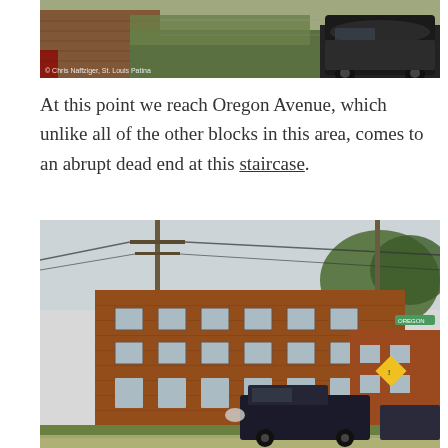[Figure (photo): Street-level photo showing brick buildings with overgrown vegetation and a black car (Chrysler 300) parked on the right. Photo credit: © Chris Naffziger, St. Louis Patina]
At this point we reach Oregon Avenue, which unlike all of the other blocks in this area, comes to an abrupt dead end at this staircase.
[Figure (photo): Street-level photo of a large three-story red brick apartment building on a corner, with utility poles, trees, a yellow diamond warning sign, and a dark van parked in front.]